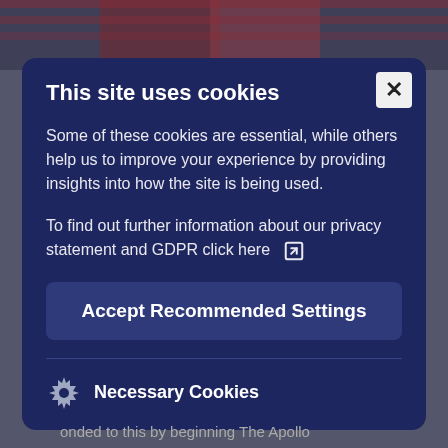[Figure (screenshot): Background showing a webpage with US flag imagery and partially visible text, overlaid by a cookie consent modal dialog.]
This site uses cookies
Some of these cookies are essential, while others help us to improve your experience by providing insights into how the site is being used.
To find out further information about our privacy statement and GDPR click here
Accept Recommended Settings
Necessary Cookies
onded to this by beginning The Apollo